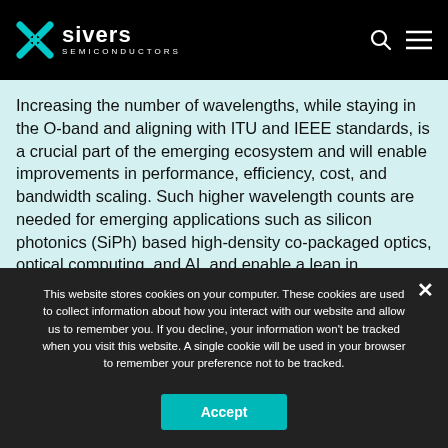Sivers Semiconductors
Increasing the number of wavelengths, while staying in the O-band and aligning with ITU and IEEE standards, is a crucial part of the emerging ecosystem and will enable improvements in performance, efficiency, cost, and bandwidth scaling. Such higher wavelength counts are needed for emerging applications such as silicon photonics (SiPh) based high-density co-packaged optics, optical computing, and AI, and enable a leap in performance, efficiency, cost, and bandwidth scaling compared with previous technology generations.
This website stores cookies on your computer. These cookies are used to collect information about how you interact with our website and allow us to remember you. If you decline, your information won't be tracked when you visit this website. A single cookie will be used in your browser to remember your preference not to be tracked.